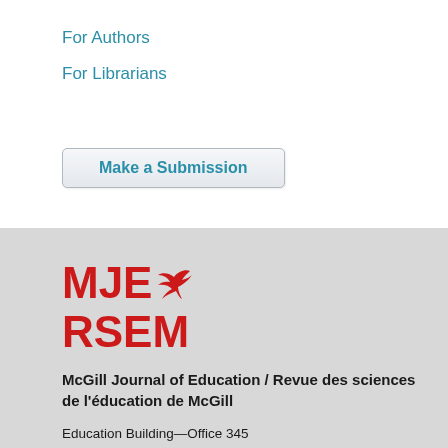For Authors
For Librarians
Make a Submission
[Figure (logo): MJE / RSEM logo with red text and bird icon]
McGill Journal of Education / Revue des sciences de l'éducation de McGill
Education Building—Office 345
3700, rue McTavish
Montréal, Québec,
Canada H3A 1Y2